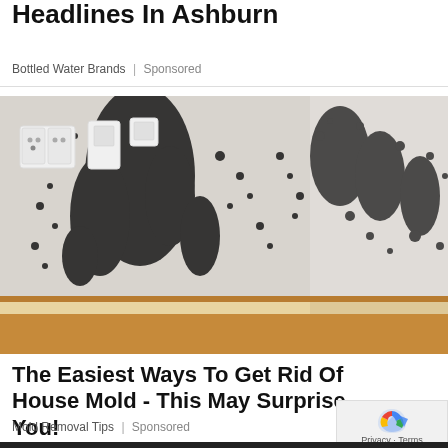Headlines In Ashburn
Bottled Water Brands | Sponsored
[Figure (photo): Photograph of a room corner with walls heavily covered in black mold. Electrical outlets and switches are visible on the white wall. Wood laminate flooring and white baseboard trim visible at bottom.]
The Easiest Ways To Get Rid Of House Mold - This May Surprise You!
Mold Removal Tips | Sponsored
[Figure (logo): Google reCAPTCHA logo with Privacy - Terms text below]